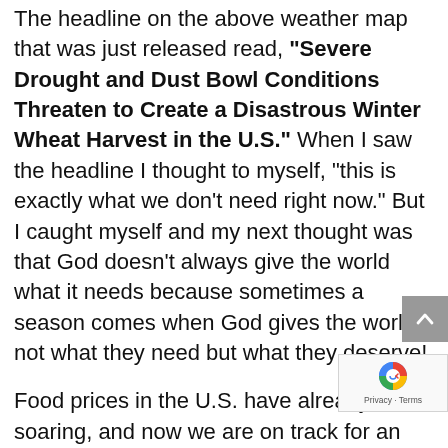The headline on the above weather map that was just released read, "Severe Drought and Dust Bowl Conditions Threaten to Create a Disastrous Winter Wheat Harvest in the U.S." When I saw the headline I thought to myself, "this is exactly what we don't need right now." But I caught myself and my next thought was that God doesn't always give the world what it needs because sometimes a season comes when God gives the world not what they need but what they deserve!
Food prices in the U.S. have already been soaring, and now we are on track for an absolutely horrible winter wheat harvest in the heart of the American bread basket. Due to extreme drought, winter wheat is in very bad shape in states such as Kansas, Oklahoma, and Texas.